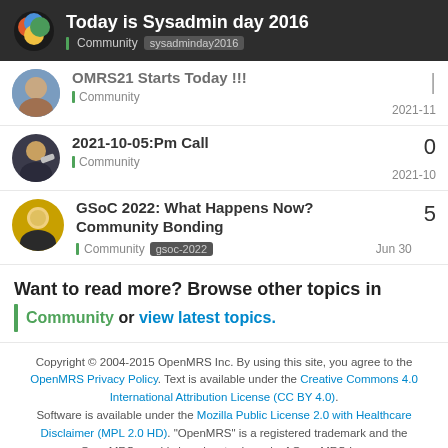Today is Sysadmin day 2016 | Community | sysadminday2016
OMRS21 Starts Today !!! | Community | 2021-11
2021-10-05:Pm Call | Community | 0 | 2021-10
GSoC 2022: What Happens Now? Community Bonding | Community | gsoc-2022 | 5 | Jun 30
Want to read more? Browse other topics in Community or view latest topics.
Copyright © 2004-2015 OpenMRS Inc. By using this site, you agree to the OpenMRS Privacy Policy. Text is available under the Creative Commons 4.0 International Attribution License (CC BY 4.0). Software is available under the Mozilla Public License 2.0 with Healthcare Disclaimer (MPL 2.0 HD). "OpenMRS" is a registered trademark and the OpenMRS graphic logo is a trademark of OpenMRS Inc.